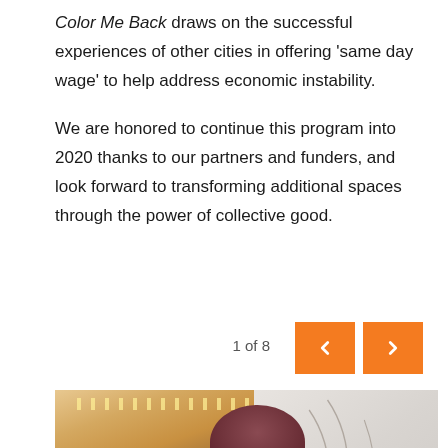Color Me Back draws on the successful experiences of other cities in offering 'same day wage' to help address economic instability.
We are honored to continue this program into 2020 thanks to our partners and funders, and look forward to transforming additional spaces through the power of collective good.
1 of 8
[Figure (photo): A person wearing a dark hoodie and burgundy beanie hat, leaning forward drawing or sketching on a white wall with a pencil. Background shows a colorful room with string lights and other people.]